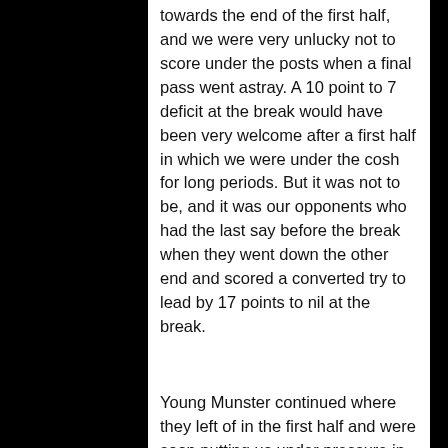towards the end of the first half, and we were very unlucky not to score under the posts when a final pass went astray.  A 10 point to 7 deficit at the break would have been very welcome after a first half in which we were under the cosh for long periods. But it was not to be, and it was our opponents who had the last say before the break when they went down the other end and scored a converted try to lead by 17 points to nil at the break.
Young Munster continued where they left of in the first half and were soon putting us under pressure in our own half.  They scored a converted try five minutes into the second half and followed this up five minutes later with an unconverted try to take their lead to 29 points to nil.